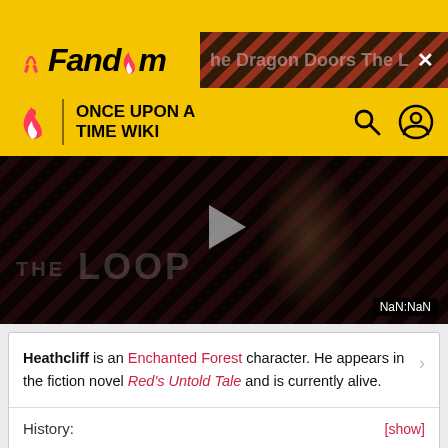Fandom
ONCE UPON A TIME WIKI
[Figure (screenshot): Video player showing 'THE LOOP' with a play button and a person in the background. Timer shows NaN:NaN.]
Heathcliff is an Enchanted Forest character. He appears in the fiction novel Red's Untold Tale and is currently alive.
History: [show]